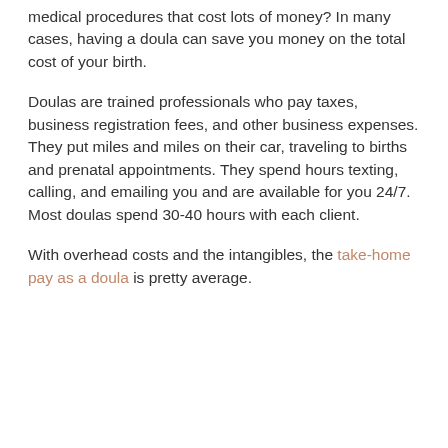medical procedures that cost lots of money? In many cases, having a doula can save you money on the total cost of your birth.
Doulas are trained professionals who pay taxes, business registration fees, and other business expenses. They put miles and miles on their car, traveling to births and prenatal appointments. They spend hours texting, calling, and emailing you and are available for you 24/7. Most doulas spend 30-40 hours with each client.
With overhead costs and the intangibles, the take-home pay as a doula is pretty average.